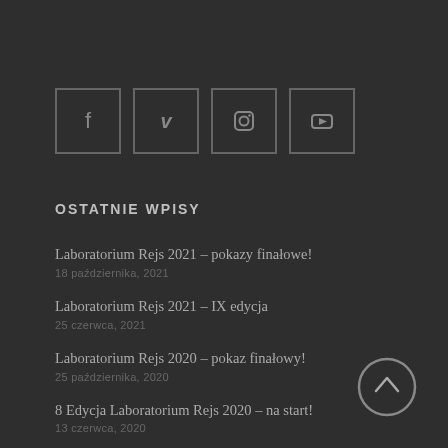[Figure (other): Four social media icon buttons in bordered squares: Facebook (f), Vimeo (V), Instagram (camera icon), YouTube (play button)]
OSTATNIE WPISY
Laboratorium Rejs 2021 – pokazy finałowe!
18 października, 2021
Laboratorium Rejs 2021 – IX edycja
25 czerwca, 2021
Laboratorium Rejs 2020 – pokaz finałowy!
25 października, 2020
8 Edycja Laboratorium Rejs 2020 – na start!
13 czerwca, 2020
Pokazy finałowe Laboratorium Rejs 2019